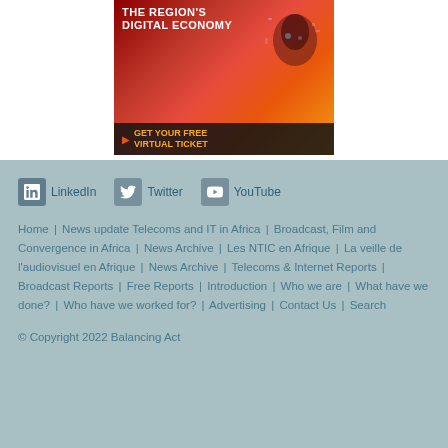[Figure (illustration): Advertisement banner for a digital economy event with red/orange gradient background, silhouette of a person with technology overlays, text reading 'THE REGION'S DIGITAL ECONOMY' and 'GET YOUR FREE VIRTUAL TICKET']
[Figure (logo): LinkedIn social media icon button]
[Figure (logo): Twitter social media icon button]
[Figure (logo): YouTube social media icon button]
Home | News update Telecoms and IT in Africa | Broadcast, Film and Convergence in Africa | News Archive | Les NTIC en Afrique | La veille de l'audiovisuel en Afrique | News Archive | Telecoms & Internet Reports | Broadcast Reports | Free Reports | Introduction | Who we are | What have we done? | Who have we worked for? | Advertising | Contact Us | Search
© Copyright 2022 Balancing Act